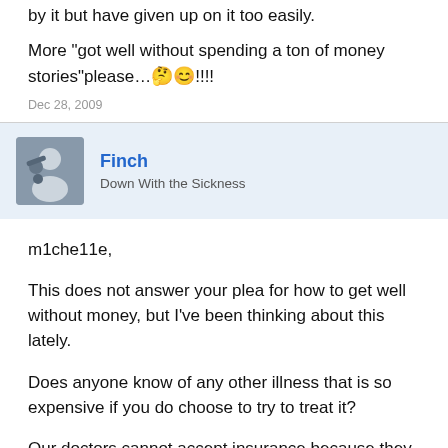by it but have given up on it too easily.
More "got well without spending a ton of money stories"please...🤔😊!!!!
Dec 28, 2009
Finch
Down With the Sickness
m1che11e,
This does not answer your plea for how to get well without money, but I've been thinking about this lately.
Does anyone know of any other illness that is so expensive if you do choose to try to treat it?
Our doctors cannot accept insurance because they treat outside of the box, or we have to travel hundreds of miles to find a doctor who understands ME/CFS at all. Our treatments